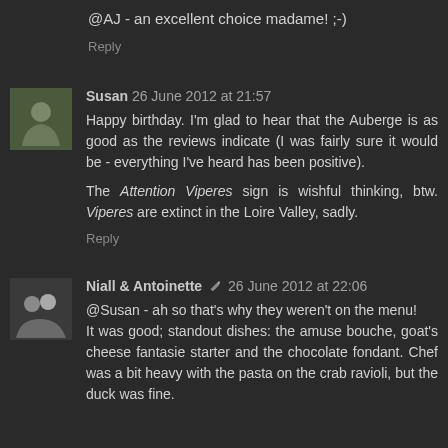@AJ - an excellent choice madame! ;-)
Reply
Susan 26 June 2012 at 21:57
Happy birthday. I'm glad to hear that the Auberge is as good as the reviews indicate (I was fairly sure it would be - everything I've heard has been positive).

The Attention Viperes sign is wishful thinking, btw. Viperes are extinct in the Loire Valley, sadly.
Reply
Niall & Antoinette 26 June 2012 at 22:06
@Susan - ah so that's why they weren't on the menu!
It was good; standout dishes: the amuse bouche, goat's cheese fantasie starter and the chocolate fondant. Chef was a bit heavy with the pasta on the crab ravioli, but the duck was fine.